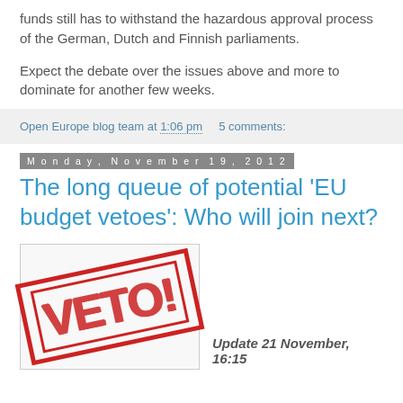funds still has to withstand the hazardous approval process of the German, Dutch and Finnish parliaments.
Expect the debate over the issues above and more to dominate for another few weeks.
Open Europe blog team at 1:06 pm   5 comments:
Monday, November 19, 2012
The long queue of potential 'EU budget vetoes': Who will join next?
[Figure (photo): Red VETO! rubber stamp image on light background]
Update 21 November, 16:15